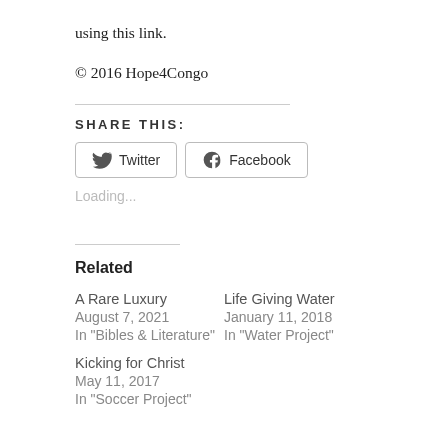using this link.
© 2016 Hope4Congo
SHARE THIS:
Twitter  Facebook
Loading...
Related
A Rare Luxury
August 7, 2021
In "Bibles & Literature"
Life Giving Water
January 11, 2018
In "Water Project"
Kicking for Christ
May 11, 2017
In "Soccer Project"